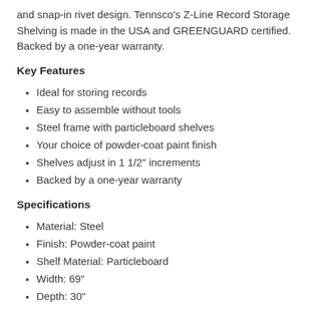and snap-in rivet design. Tennsco's Z-Line Record Storage Shelving is made in the USA and GREENGUARD certified. Backed by a one-year warranty.
Key Features
Ideal for storing records
Easy to assemble without tools
Steel frame with particleboard shelves
Your choice of powder-coat paint finish
Shelves adjust in 1 1/2" increments
Backed by a one-year warranty
Specifications
Material: Steel
Finish: Powder-coat paint
Shelf Material: Particleboard
Width: 69"
Depth: 30"